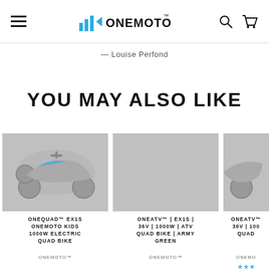ONEMOTO™ — navigation header with hamburger menu, logo, search and cart icons
— Louise Perfond
YOU MAY ALSO LIKE
[Figure (photo): ONEQUAD™ EX1S electric quad bike on grey background]
ONEQUAD™ EX1S ONEMOTO KIDS 1000W ELECTRIC QUAD BIKE
ONEMOTO™
[Figure (photo): ONEATV™ EX1S ATV Quad Bike Army Green on grey background — no image shown, grey placeholder]
ONEATV™ | EX1S | 36V | 1000W | ATV QUAD BIKE | ARMY GREEN
ONEMOTO™
[Figure (photo): ONEATV™ EX1S quad bike partial view on grey background]
ONEATV™ 36V | 100 QUAD
ONEMO